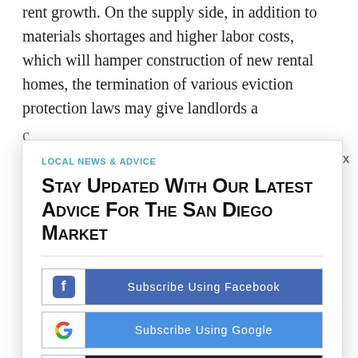rent growth. On the supply side, in addition to materials shortages and higher labor costs, which will hamper construction of new rental homes, the termination of various eviction protection laws may give landlords a
LOCAL NEWS & ADVICE
Stay Updated With Our Latest Advice For The San Diego Market
Subscribe Using Facebook
Subscribe Using Google
Continue with Email